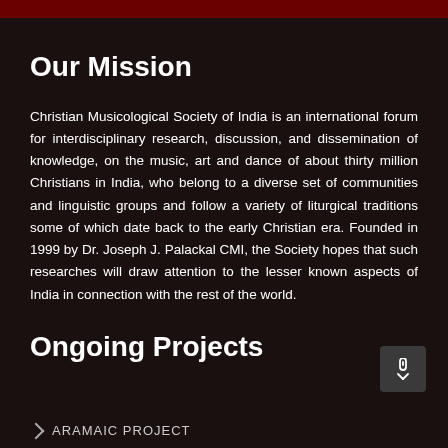Our Mission
Christian Musicological Society of India is an international forum for interdisciplinary research, discussion, and dissemination of knowledge, on the music, art and dance of about thirty million Christians in India, who belong to a diverse set of communities and linguistic groups and follow a variety of liturgical traditions some of which date back to the early Christian era. Founded in 1999 by Dr. Joseph J. Palackal CMI, the Society hopes that such researches will draw attention to the lesser known aspects of India in connection with the rest of the world.
Ongoing Projects
ARAMAIC PROJECT